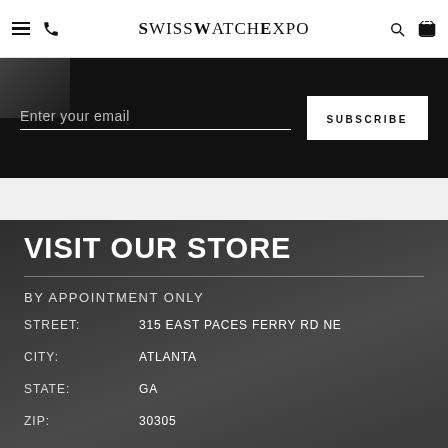SwissWatchExpo — Navigation bar with menu, phone, logo, search, cart icons
Enter your email
SUBSCRIBE
VISIT OUR STORE
BY APPOINTMENT ONLY
STREET: 315 EAST PACES FERRY RD NE
CITY: ATLANTA
STATE: GA
ZIP: 30305